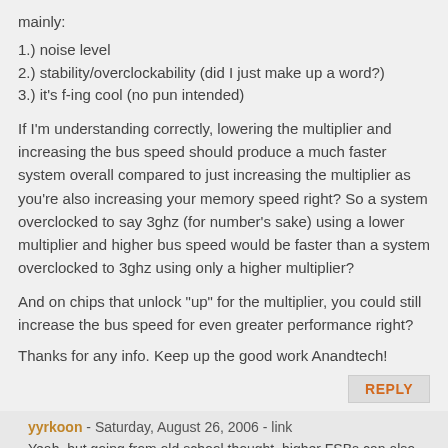mainly:
1.) noise level
2.) stability/overclockability (did I just make up a word?)
3.) it's f-ing cool (no pun intended)
If I'm understanding correctly, lowering the multiplier and increasing the bus speed should produce a much faster system overall compared to just increasing the multiplier as you're also increasing your memory speed right? So a system overclocked to say 3ghz (for number's sake) using a lower multiplier and higher bus speed would be faster than a system overclocked to 3ghz using only a higher multiplier?
And on chips that unlock "up" for the multiplier, you could still increase the bus speed for even greater performance right?
Thanks for any info. Keep up the good work Anandtech!
REPLY
yyrkoon - Saturday, August 26, 2006 - link
Yeah, but going from old school thought. higher FSBs can also mean parts wear out faster (namely the motherboard), I dont know if with memory dividers etc, if this is still the case. Anyhow, this is why I would like to see a detailed overclocking article...